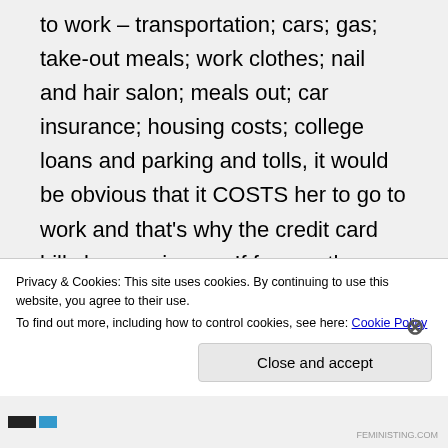to work – transportation; cars; gas; take-out meals; work clothes; nail and hair salon; meals out; car insurance; housing costs; college loans and parking and tolls, it would be obvious that it COSTS her to go to work and that's why the credit card bills keep going up. If for no other reason than that, women should reconsider whether feminism is really the best idea for them...
Privacy & Cookies: This site uses cookies. By continuing to use this website, you agree to their use.
To find out more, including how to control cookies, see here: Cookie Policy